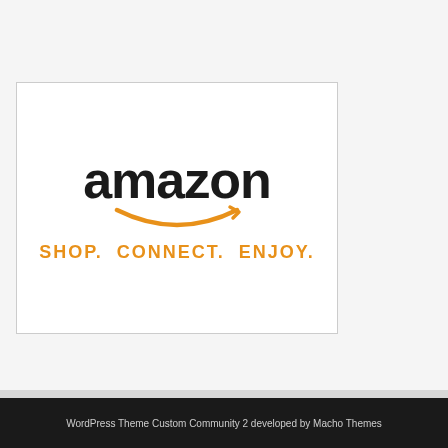[Figure (logo): Amazon logo with the text 'amazon' in bold black, an orange smile/arrow beneath it, and the tagline 'SHOP. CONNECT. ENJOY.' in orange bold text. Displayed inside a white rectangle with a thin border.]
WordPress Theme Custom Community 2 developed by Macho Themes